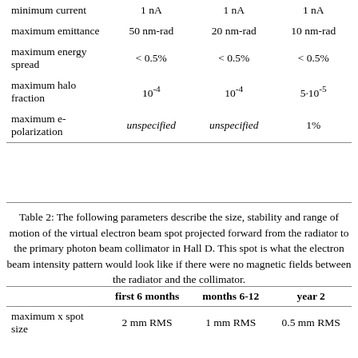|  | first 6 months | months 6-12 | year 2 |
| --- | --- | --- | --- |
| minimum current | 1 nA | 1 nA | 1 nA |
| maximum emittance | 50 nm-rad | 20 nm-rad | 10 nm-rad |
| maximum energy spread | < 0.5% | < 0.5% | < 0.5% |
| maximum halo fraction | 10⁻⁴ | 10⁻⁴ | 5·10⁻⁵ |
| maximum e-polarization | unspecified | unspecified | 1% |
Table 2: The following parameters describe the size, stability and range of motion of the virtual electron beam spot projected forward from the radiator to the primary photon beam collimator in Hall D. This spot is what the electron beam intensity pattern would look like if there were no magnetic fields between the radiator and the collimator.
|  | first 6 months | months 6-12 | year 2 |
| --- | --- | --- | --- |
| maximum x spot size | 2 mm RMS | 1 mm RMS | 0.5 mm RMS |